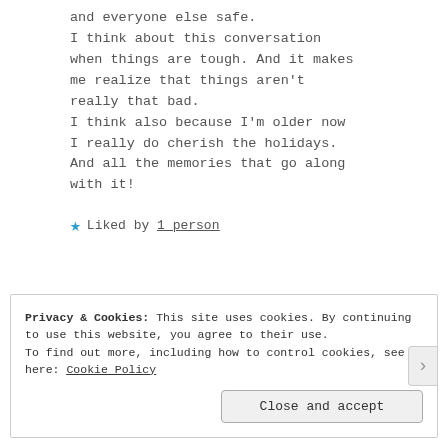and everyone else safe. I think about this conversation when things are tough. And it makes me realize that things aren't really that bad. I think also because I'm older now I really do cherish the holidays. And all the memories that go along with it!
★ Liked by 1_person
Privacy & Cookies: This site uses cookies. By continuing to use this website, you agree to their use. To find out more, including how to control cookies, see here: Cookie Policy
Close and accept